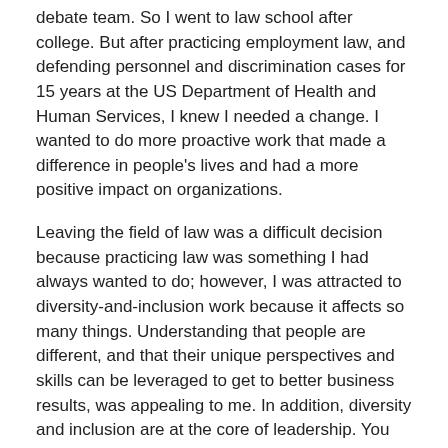debate team. So I went to law school after college. But after practicing employment law, and defending personnel and discrimination cases for 15 years at the US Department of Health and Human Services, I knew I needed a change. I wanted to do more proactive work that made a difference in people's lives and had a more positive impact on organizations.
Leaving the field of law was a difficult decision because practicing law was something I had always wanted to do; however, I was attracted to diversity-and-inclusion work because it affects so many things. Understanding that people are different, and that their unique perspectives and skills can be leveraged to get to better business results, was appealing to me. In addition, diversity and inclusion are at the core of leadership. You cannot call yourself a leader if no one is following, so understanding diversity and figuring out how to leverage it are critical to effective leadership.